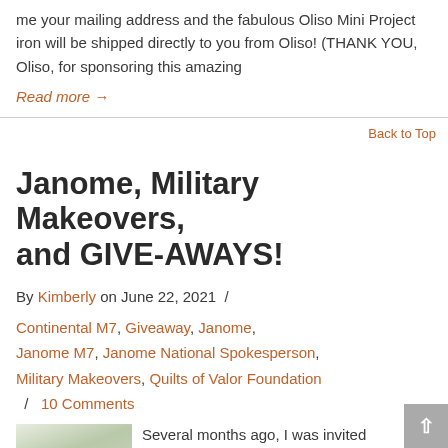me your mailing address and the fabulous Oliso Mini Project iron will be shipped directly to you from Oliso! (THANK YOU, Oliso, for sponsoring this amazing
Read more →
Back to Top
Janome, Military Makeovers, and GIVE-AWAYS!
By Kimberly on June 22, 2021 / Continental M7, Giveaway, Janome, Janome M7, Janome National Spokesperson, Military Makeovers, Quilts of Valor Foundation / 10 Comments
[Figure (photo): Photo of a room interior with window and plant]
Several months ago, I was invited